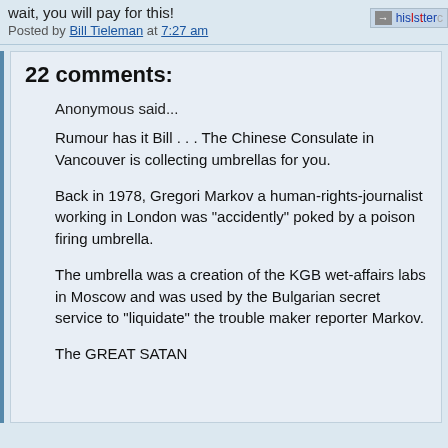wait, you will pay for this!
Posted by Bill Tieleman at 7:27 am
22 comments:
Anonymous said...
Rumour has it Bill . . . The Chinese Consulate in Vancouver is collecting umbrellas for you.
Back in 1978, Gregori Markov a human-rights-journalist working in London was "accidently" poked by a poison firing umbrella.
The umbrella was a creation of the KGB wet-affairs labs in Moscow and was used by the Bulgarian secret service to "liquidate" the trouble maker reporter Markov.
The GREAT SATAN